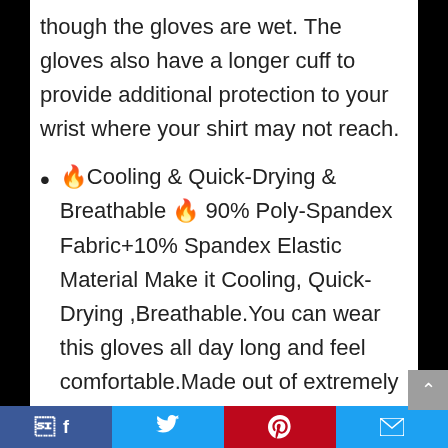though the gloves are wet. The gloves also have a longer cuff to provide additional protection to your wrist where your shirt may not reach.
🔥Cooling & Quick-Drying & Breathable 🔥 90% Poly-Spandex Fabric+10% Spandex Elastic Material Make it Cooling, Quick-Drying ,Breathable.You can wear this gloves all day long and feel comfortable.Made out of extremely lightweight yet very durable fabric that is both breathable and quick-drying. This fabric choice will hep
Facebook | Twitter | Pinterest | Email